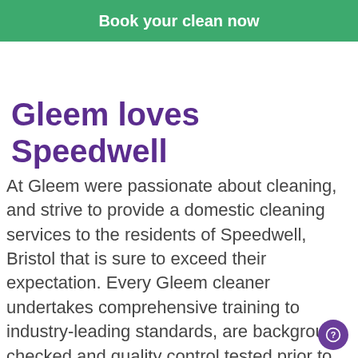Book your clean now
Gleem loves Speedwell
At Gleem were passionate about cleaning, and strive to provide a domestic cleaning services to the residents of Speedwell, Bristol that is sure to exceed their expectation. Every Gleem cleaner undertakes comprehensive training to industry-leading standards, are background checked and quality control tested prior to being assigned to any bookings; to ensure the service we deliver is of a